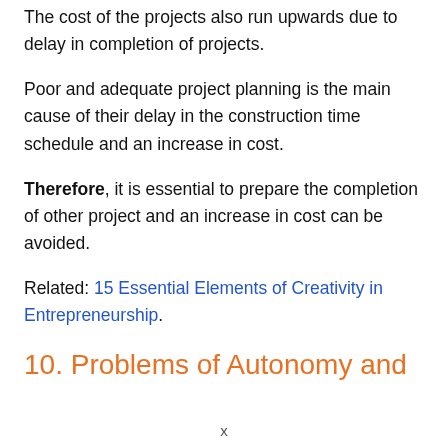The cost of the projects also run upwards due to delay in completion of projects.
Poor and adequate project planning is the main cause of their delay in the construction time schedule and an increase in cost.
Therefore, it is essential to prepare the completion of other project and an increase in cost can be avoided.
Related: 15 Essential Elements of Creativity in Entrepreneurship.
10. Problems of Autonomy and